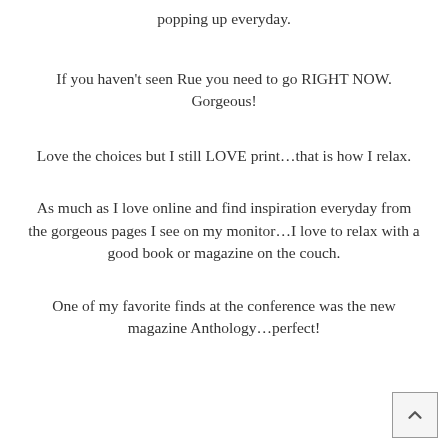popping up everyday.
If you haven't seen Rue you need to go RIGHT NOW. Gorgeous!
Love the choices but I still LOVE print…that is how I relax.
As much as I love online and find inspiration everyday from the gorgeous pages I see on my monitor…I love to relax with a good book or magazine on the couch.
One of my favorite finds at the conference was the new magazine Anthology…perfect!